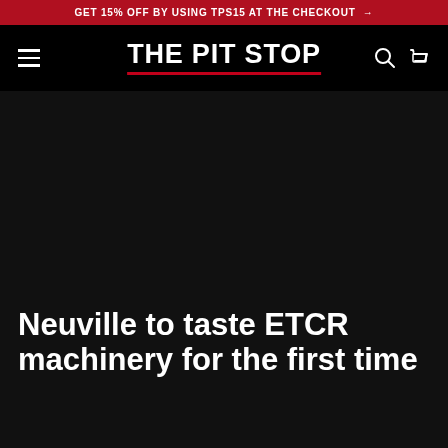GET 15% OFF BY USING TPS15 AT THE CHECKOUT →
THE PIT STOP
[Figure (other): Dark hero image area, mostly black background]
Neuville to taste ETCR machinery for the first time